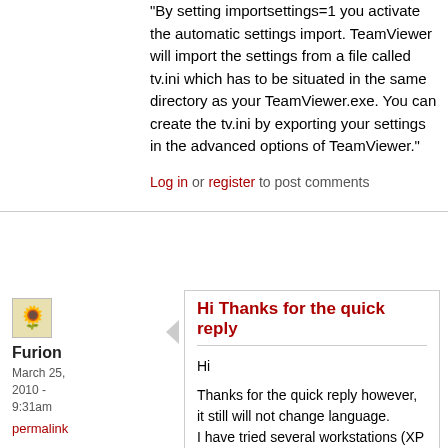"By setting importsettings=1 you activate the automatic settings import. TeamViewer will import the settings from a file called tv.ini which has to be situated in the same directory as your TeamViewer.exe. You can create the tv.ini by exporting your settings in the advanced options of TeamViewer."
Log in or register to post comments
[Figure (illustration): Small avatar icon showing a cartoon character]
Furion
March 25, 2010 - 9:31am
permalink
Hi Thanks for the quick reply
Hi

Thanks for the quick reply however, it still will not change language.
I have tried several workstations (XP & Vista)
TV version = 5.0.8081P